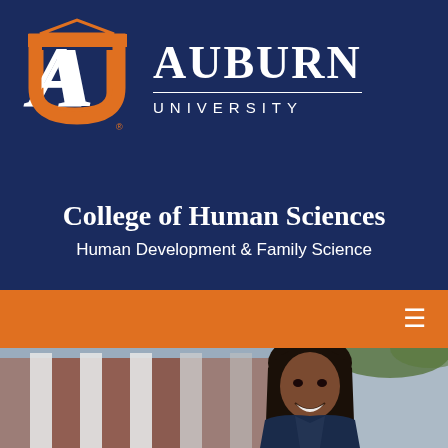[Figure (logo): Auburn University logo with interlocking AU letters in orange and navy, followed by text AUBURN UNIVERSITY and College of Human Sciences, Human Development & Family Science on navy blue background]
[Figure (photo): Orange navigation bar with hamburger menu icon on the right]
[Figure (photo): Professional headshot of a Black woman with dark hair, smiling, standing in front of a brick building with white columns, wearing a navy jacket]